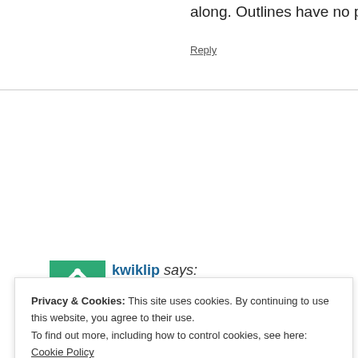along. Outlines have no place in her writing ha
Reply
[Figure (other): Avatar image for user kwiklip — green geometric pattern icon]
kwiklip says:
May 4, 2015 at 1:13 am
Gem, wow, I had only heard that she was just started on be ending there. Where did you hear about a 10th?!
Privacy & Cookies: This site uses cookies. By continuing to use this website, you agree to their use.
To find out more, including how to control cookies, see here: Cookie Policy
Close and accept